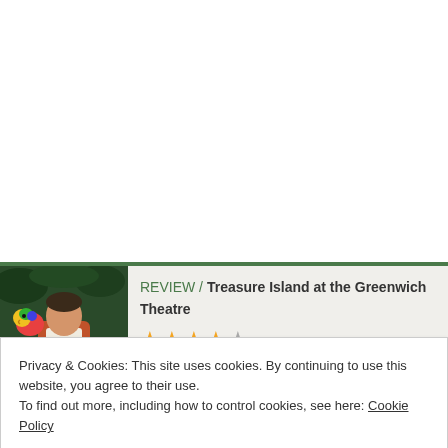[Figure (photo): Photo of a performer in a pirate/adventure costume with a colorful parrot puppet, set against a jungle backdrop. Used as thumbnail for the Treasure Island review.]
REVIEW / Treasure Island at the Greenwich Theatre
[Figure (other): Star rating showing 4 out of 5 stars — four filled gold stars and one grey star.]
Privacy & Cookies: This site uses cookies. By continuing to use this website, you agree to their use.
To find out more, including how to control cookies, see here: Cookie Policy
Close and accept